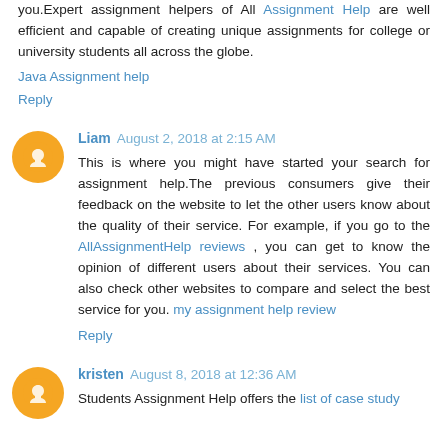you.Expert assignment helpers of All Assignment Help are well efficient and capable of creating unique assignments for college or university students all across the globe.
Java Assignment help
Reply
Liam  August 2, 2018 at 2:15 AM
This is where you might have started your search for assignment help.The previous consumers give their feedback on the website to let the other users know about the quality of their service. For example, if you go to the AllAssignmentHelp reviews , you can get to know the opinion of different users about their services. You can also check other websites to compare and select the best service for you. my assignment help review
Reply
kristen  August 8, 2018 at 12:36 AM
Students Assignment Help offers the list of case study